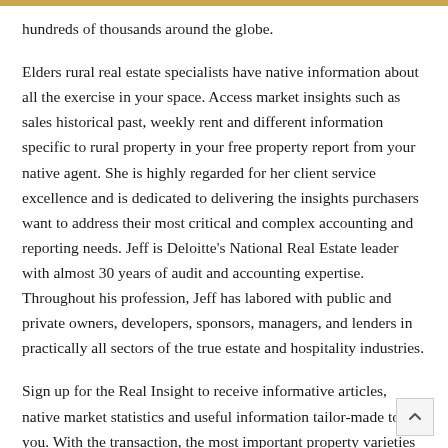hundreds of thousands around the globe.
Elders rural real estate specialists have native information about all the exercise in your space. Access market insights such as sales historical past, weekly rent and different information specific to rural property in your free property report from your native agent. She is highly regarded for her client service excellence and is dedicated to delivering the insights purchasers want to address their most critical and complex accounting and reporting needs. Jeff is Deloitte's National Real Estate leader with almost 30 years of audit and accounting expertise. Throughout his profession, Jeff has labored with public and private owners, developers, sponsors, managers, and lenders in practically all sectors of the true estate and hospitality industries.
Sign up for the Real Insight to receive informative articles, native market statistics and useful information tailor-made to you. With the transaction, the most important property varieties represented in American Finance Trust's retail portfolio will embody low cost stores, gas stations, specialty retail,